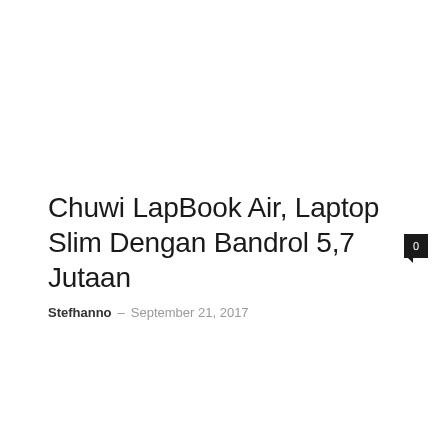Chuwi LapBook Air, Laptop Slim Dengan Bandrol 5,7 Jutaan
Stefhanno – September 21, 2017